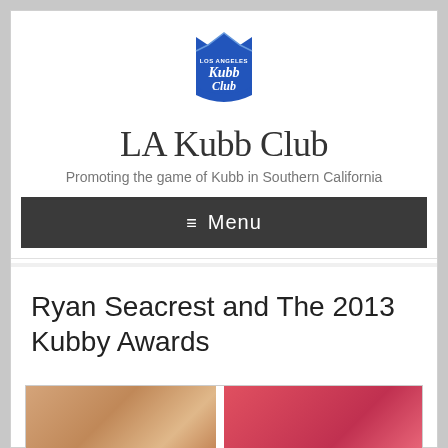[Figure (logo): LA Kubb Club logo — blue shield/crown shape with 'LOS ANGELES Kubb Club' text in white on blue background]
LA Kubb Club
Promoting the game of Kubb in Southern California
≡ Menu
Ryan Seacrest and The 2013 Kubby Awards
[Figure (photo): Partial photo showing two people, left side shows a person with blonde hair and colorful background, right side shows another person with pink/red tones]